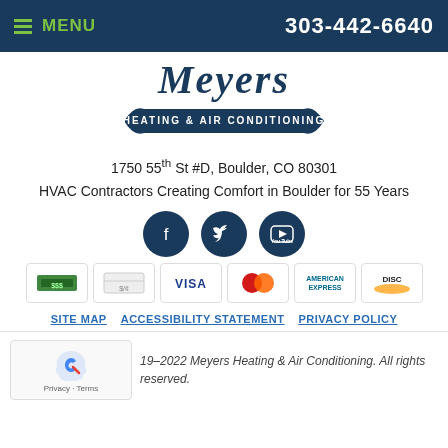MENU   303-442-6640
[Figure (logo): Meyers Heating & Air Conditioning logo — cursive script 'Meyers' above a navy banner reading 'HEATING & AIR CONDITIONING']
1750 55th St #D, Boulder, CO 80301
HVAC Contractors Creating Comfort in Boulder for 55 Years
[Figure (infographic): Social media icons: Facebook, Twitter, YouTube — dark navy circles]
[Figure (infographic): Payment method icons: Cash, Check, Visa, Mastercard, American Express, Discover]
SITE MAP   ACCESSIBILITY STATEMENT   PRIVACY POLICY
19–2022 Meyers Heating & Air Conditioning. All rights reserved.